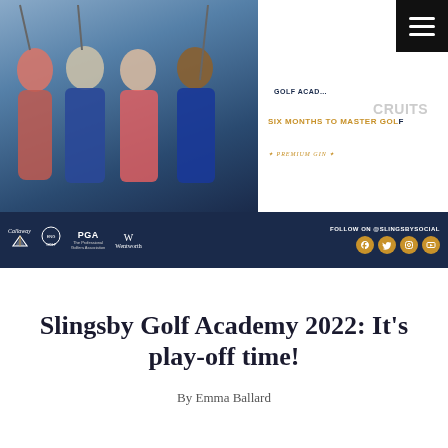[Figure (photo): Slingsby Golf Academy banner advertisement showing four women golfers in golf attire against a dark navy background. Right side shows text: SLINGSBY, GOLF ACADEMY, FOUR NEW RECRUITS, SIX MONTHS TO MASTER GOLF, Slingsby Premium Gin logo, BMW PGA CHAMPIONSHIP. Bottom bar shows sponsor logos: Callaway, England Golf, PGA, Wentworth. Right side shows FOLLOW ON @SLINGSBYSOCIAL with social media icons.]
Slingsby Golf Academy 2022: It's play-off time!
By Emma Ballard